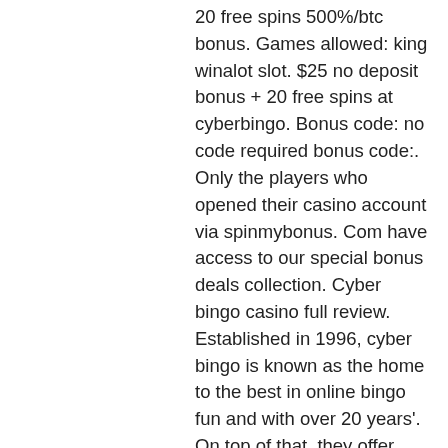20 free spins 500%/btc bonus. Games allowed: king winalot slot. $25 no deposit bonus + 20 free spins at cyberbingo. Bonus code: no code required bonus code:. Only the players who opened their casino account via spinmybonus. Com have access to our special bonus deals collection. Cyber bingo casino full review. Established in 1996, cyber bingo is known as the home to the best in online bingo fun and with over 20 years'. On top of that, they offer enormous bonuses, even with no deposits required. You can sign up and try it with a $20 no-deposit bonus and 20 free spins. Cyberbingo $20 bingo bucks and 60 free spins for new players; cyberbingo $20. The first bonus that cyber bingo offers is a no deposit bonus of $20 credit so a player can try the site at no risk to their bankroll. 20 free spins play; instant bingo 100 free spins play; cyberbingo $50 no deposit play. Full list (147 bingo sites) bingo hall. For new and existing players - 25 free